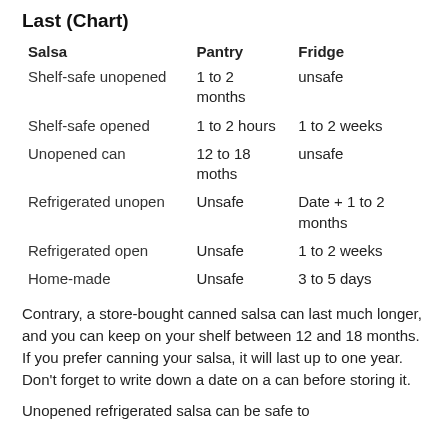Last (Chart)
| Salsa | Pantry | Fridge |
| --- | --- | --- |
| Shelf-safe unopened | 1 to 2 months | unsafe |
| Shelf-safe opened | 1 to 2 hours | 1 to 2 weeks |
| Unopened can | 12 to 18 moths | unsafe |
| Refrigerated unopen | Unsafe | Date + 1 to 2 months |
| Refrigerated open | Unsafe | 1 to 2 weeks |
| Home-made | Unsafe | 3 to 5 days |
Contrary, a store-bought canned salsa can last much longer, and you can keep on your shelf between 12 and 18 months. If you prefer canning your salsa, it will last up to one year. Don’t forget to write down a date on a can before storing it.
Unopened refrigerated salsa can be safe to